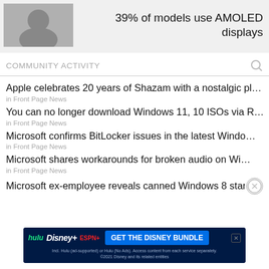[Figure (photo): Small photo thumbnail of a person, next to text '39% of models use AMOLED displays']
39% of models use AMOLED displays
COMMUNITY ACTIVITY
Apple celebrates 20 years of Shazam with a nostalgic pl…
in Front Page News
You can no longer download Windows 11, 10 ISOs via R…
in Front Page News
Microsoft confirms BitLocker issues in the latest Windo…
in Front Page News
Microsoft shares workarounds for broken audio on Wi…
in Front Page News
Microsoft ex-employee reveals canned Windows 8 star…
[Figure (screenshot): Disney Bundle advertisement banner: Hulu, Disney+, ESPN+ logos with 'GET THE DISNEY BUNDLE' call to action button. Fine print: Incl. Hulu (ad-supported) or Hulu (No Ads). Access content from each service separately. ©2021 Disney and its related entities]